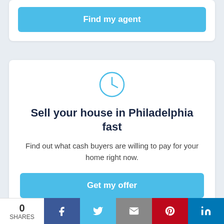Find my agent
[Figure (illustration): Clock icon in blue outline style]
Sell your house in Philadelphia fast
Find out what cash buyers are willing to pay for your home right now.
Get my offer
0 SHARES | Facebook | Twitter | Email | Pinterest | LinkedIn